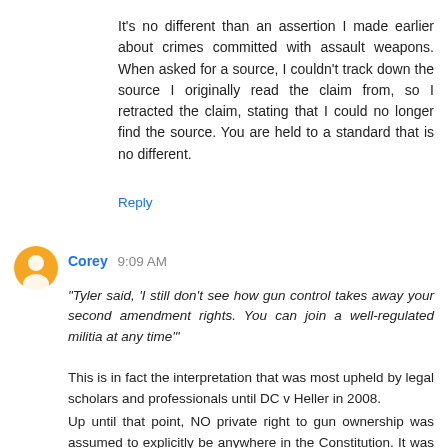It's no different than an assertion I made earlier about crimes committed with assault weapons. When asked for a source, I couldn't track down the source I originally read the claim from, so I retracted the claim, stating that I could no longer find the source. You are held to a standard that is no different.
Reply
Corey 9:09 AM
"Tyler said, 'I still don't see how gun control takes away your second amendment rights. You can join a well-regulated militia at any time'"
This is in fact the interpretation that was most upheld by legal scholars and professionals until DC v Heller in 2008.
Up until that point, NO private right to gun ownership was assumed to explicitly be anywhere in the Constitution. It was simply something people were allowed to do because